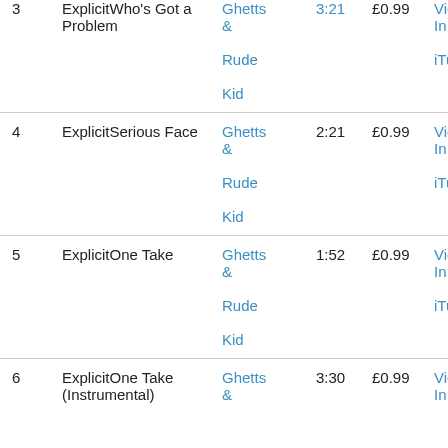| # | Title | Artist | Time | Price | Link |
| --- | --- | --- | --- | --- | --- |
| 3 | ExplicitWho's Got a Problem | Ghetts & Rude Kid | 3:21 | £0.99 | View In iTunes |
| 4 | ExplicitSerious Face | Ghetts & Rude Kid | 2:21 | £0.99 | View In iTunes |
| 5 | ExplicitOne Take | Ghetts & Rude Kid | 1:52 | £0.99 | View In iTunes |
| 6 | ExplicitOne Take (Instrumental) | Ghetts & | 3:30 | £0.99 | View In |